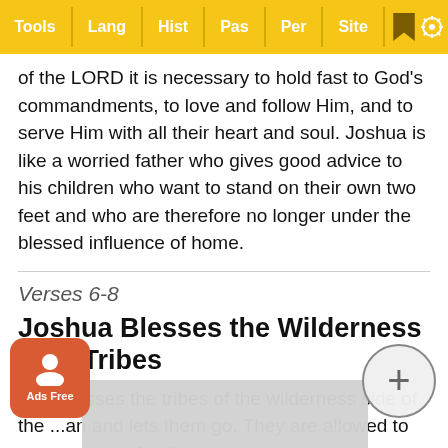Tools | Lang | Hist | Pas | Per | Site
of the LORD it is necessary to hold fast to God's commandments, to love and follow Him, and to serve Him with all their heart and soul. Joshua is like a worried father who gives good advice to his children who want to stand on their own two feet and who are therefore no longer under the blessed influence of home.
Verses 6-8
Joshua Blesses the Wilderness Side Tribes
...ua blesses the tribes of the wilderness side of the ...an and lets them go. They are allowed to return to their famili... ne ark does n... ack they t...